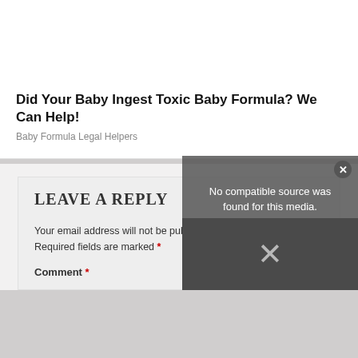Did Your Baby Ingest Toxic Baby Formula? We Can Help!
Baby Formula Legal Helpers
LEAVE A REPLY
Your email address will not be published. Required fields are marked *
Comment *